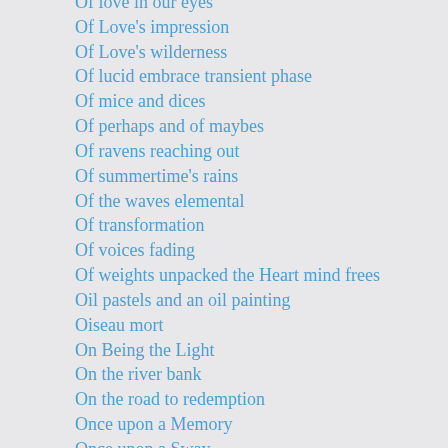Of love in our eyes
Of Love's impression
Of Love's wilderness
Of lucid embrace transient phase
Of mice and dices
Of perhaps and of maybes
Of ravens reaching out
Of summertime's rains
Of the waves elemental
Of transformation
Of voices fading
Of weights unpacked the Heart mind frees
Oil pastels and an oil painting
Oiseau mort
On Being the Light
On the river bank
On the road to redemption
Once upon a Memory
Once upon a Sway
Once upon a time we loved
One one thousand clear